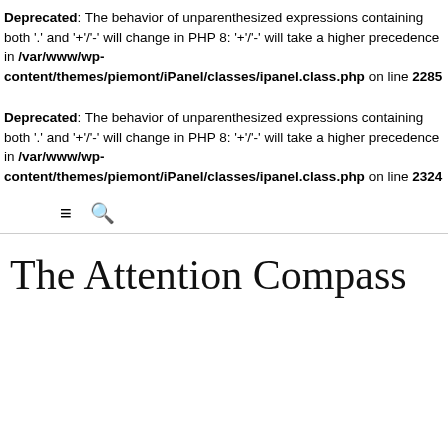Deprecated: The behavior of unparenthesized expressions containing both '.' and '+'/'-' will change in PHP 8: '+'/'-' will take a higher precedence in /var/www/wp-content/themes/piemont/iPanel/classes/ipanel.class.php on line 2285
Deprecated: The behavior of unparenthesized expressions containing both '.' and '+'/'-' will change in PHP 8: '+'/'-' will take a higher precedence in /var/www/wp-content/themes/piemont/iPanel/classes/ipanel.class.php on line 2324
The Attention Compass